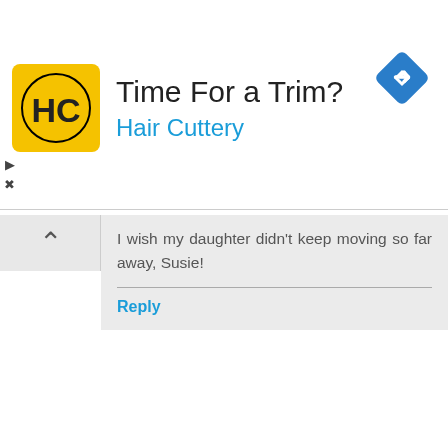[Figure (screenshot): Hair Cuttery advertisement banner with yellow HC logo, title 'Time For a Trim?', brand name 'Hair Cuttery' in blue, and a blue diamond navigation icon in top right. Small play and close controls on left side.]
I wish my daughter didn't keep moving so far away, Susie!
Reply